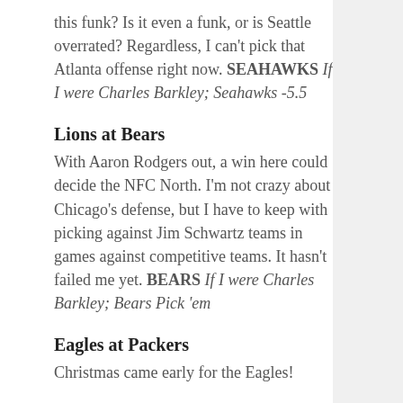this funk? Is it even a funk, or is Seattle overrated? Regardless, I can't pick that Atlanta offense right now. SEAHAWKS If I were Charles Barkley; Seahawks -5.5
Lions at Bears
With Aaron Rodgers out, a win here could decide the NFC North. I'm not crazy about Chicago's defense, but I have to keep with picking against Jim Schwartz teams in games against competitive teams. It hasn't failed me yet. BEARS If I were Charles Barkley; Bears Pick 'em
Eagles at Packers
Christmas came early for the Eagles!